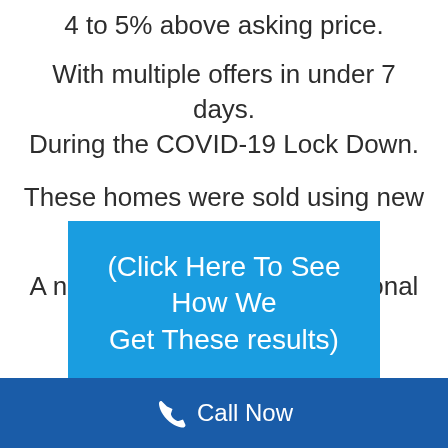4 to 5% above asking price.
With multiple offers in under 7 days. During the COVID-19 Lock Down.
These homes were sold using new technologies,
A new methods of unconventional marketing.
(Click Here To See How We Get These results)
Call Now